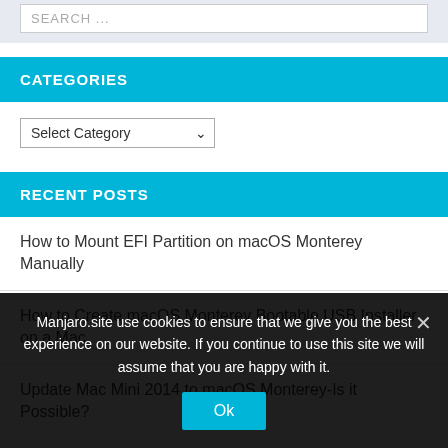SEARCH ...
CATEGORIES
Select Category
RECENT POSTS
How to Mount EFI Partition on macOS Monterey Manually
How to Create macOS Monterey Bootable USB Installer on a Mac
Update Mac Mini 2014 to macOS Monterey-Is it Possible?
Manjaro.site use cookies to ensure that we give you the best experience on our website. If you continue to use this site we will assume that you are happy with it.
Ok